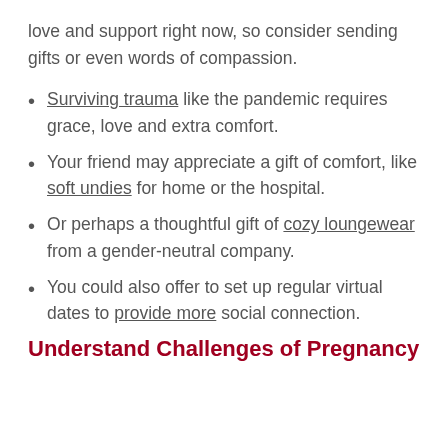love and support right now, so consider sending gifts or even words of compassion.
Surviving trauma like the pandemic requires grace, love and extra comfort.
Your friend may appreciate a gift of comfort, like soft undies for home or the hospital.
Or perhaps a thoughtful gift of cozy loungewear from a gender-neutral company.
You could also offer to set up regular virtual dates to provide more social connection.
Understand Challenges of Pregnancy